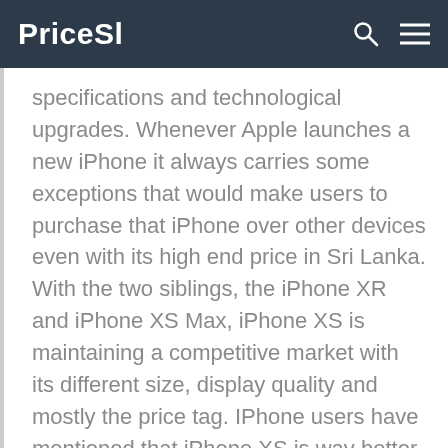PriceSl
specifications and technological upgrades. Whenever Apple launches a new iPhone it always carries some exceptions that would make users to purchase that iPhone over other devices even with its high end price in Sri Lanka. With the two siblings, the iPhone XR and iPhone XS Max, iPhone XS is maintaining a competitive market with its different size, display quality and mostly the price tag. IPhone users have mentioned that iPhone XS is wav better than iPhone